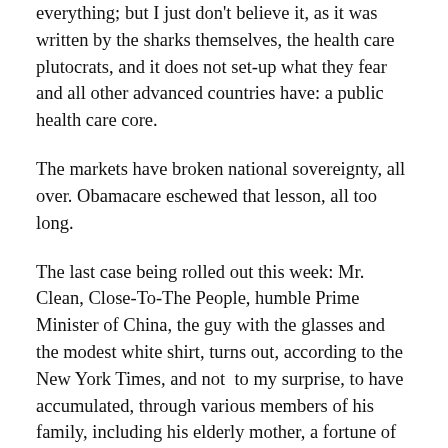everything; but I just don't believe it, as it was written by the sharks themselves, the health care plutocrats, and it does not set-up what they fear and all other advanced countries have: a public health care core.
The markets have broken national sovereignty, all over. Obamacare eschewed that lesson, all too long.
The last case being rolled out this week: Mr. Clean, Close-To-The People, humble Prime Minister of China, the guy with the glasses and the modest white shirt, turns out, according to the New York Times, and not  to my surprise, to have accumulated, through various members of his family, including his elderly mother, a fortune of no less than 2.7 billion dollars.
The dictatorship of the People has turned into the dictatorship of the Plutocrats. The New York Times just